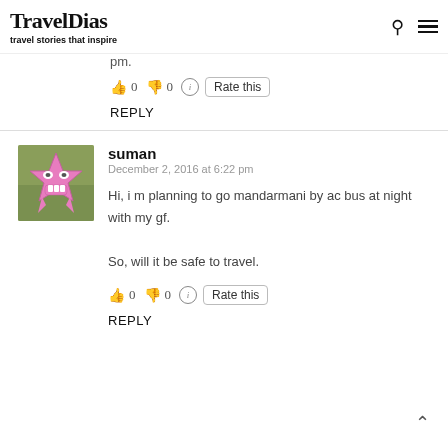TravelDias — travel stories that inspire
pm.
👍 0 👎 0 ℹ Rate this
REPLY
[Figure (illustration): Pink star-shaped cartoon avatar on green background]
suman
December 2, 2016 at 6:22 pm
Hi, i m planning to go mandarmani by ac bus at night with my gf.
So, will it be safe to travel.
👍 0 👎 0 ℹ Rate this
REPLY